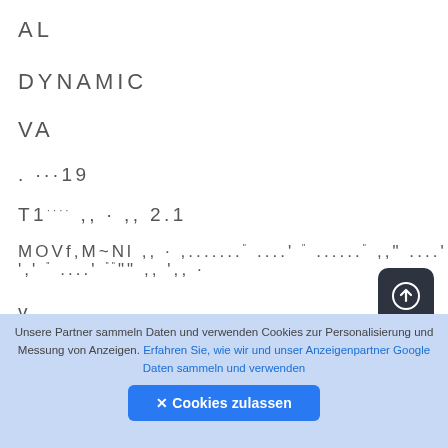AL
DYNAMIC
VA
. ···19
T1···· ,, · ,, 2.1
MOVf,M~Nl ,, · ,......." ,....' '" ,......' '" ,,'" ,...' ',' '" ,...' '"""" ,, ',, ·
v
Unsere Partner sammeln Daten und verwenden Cookies zur Personalisierung und Messung von Anzeigen. Erfahren Sie, wie wir und unser Anzeigenpartner Google Daten sammeln und verwenden
✕ Cookies zulassen